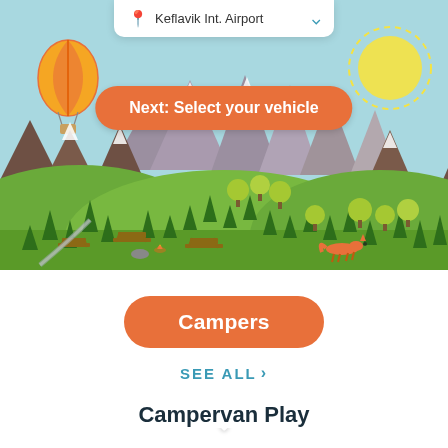[Figure (screenshot): App UI showing a scenic Iceland camping illustration with mountains, green hills, trees, hot air balloon, sun, picnic tables, campfire, and a fox. A white dropdown bar at the top shows 'Keflavik Int. Airport'. An orange pill button reads 'Next: Select your vehicle'. A white chevron scroll indicator is visible at the bottom of the scene.]
Keflavik Int. Airport
Next: Select your vehicle
Campers
SEE ALL >
Campervan Play